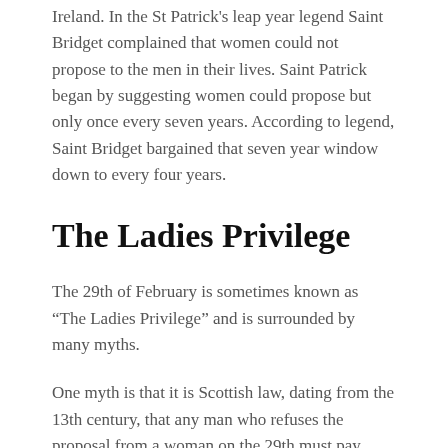Ireland. In the St Patrick's leap year legend Saint Bridget complained that women could not propose to the men in their lives. Saint Patrick began by suggesting women could propose but only once every seven years. According to legend, Saint Bridget bargained that seven year window down to every four years.
The Ladies Privilege
The 29th of February is sometimes known as “The Ladies Privilege” and is surrounded by many myths.
One myth is that it is Scottish law, dating from the 13th century, that any man who refuses the proposal from a woman on the 29th must pay £100 in